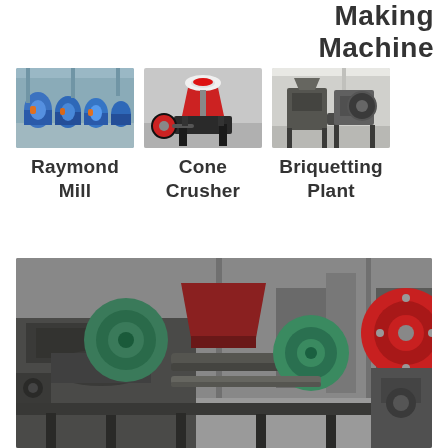Making Machine
[Figure (photo): Three product thumbnails: Raymond Mill (blue industrial mills in warehouse), Cone Crusher (red and black cone crusher), Briquetting Plant (industrial briquetting machine)]
Raymond Mill
Cone Crusher
Briquetting Plant
[Figure (photo): Large briquetting plant machinery in an industrial facility, showing roller press equipment with green flywheel covers, grey metallic machinery, and a red circular component on the right side]